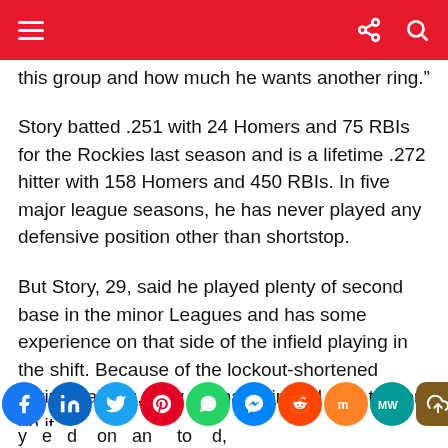Navigation bar with hamburger menu and share/search icons
this group and how much he wants another ring.”
Story batted .251 with 24 Homers and 75 RBIs for the Rockies last season and is a lifetime .272 hitter with 158 Homers and 450 RBIs. In five major league seasons, he has never played any defensive position other than shortstop.
But Story, 29, said he played plenty of second base in the minor Leagues and has some experience on that side of the infield playing in the shift. Because of the lockout-shortened spring training, they will have limited time to work on it.
[Figure (infographic): Social sharing icons row: Facebook, LinkedIn, Twitter, Pinterest, WhatsApp, Messenger, Reddit, Mix, MeWe, and a share/upload button]
y e d on an to d,